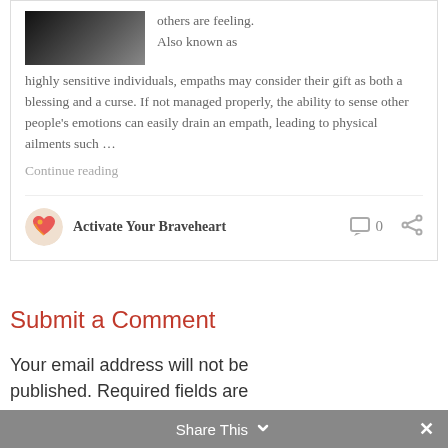[Figure (photo): Partial black and white or dark photo visible at top left of card]
others are feeling. Also known as highly sensitive individuals, empaths may consider their gift as both a blessing and a curse. If not managed properly, the ability to sense other people's emotions can easily drain an empath, leading to physical ailments such … Continue reading
Activate Your Braveheart  0
Submit a Comment
Your email address will not be published. Required fields are
Share This  ×